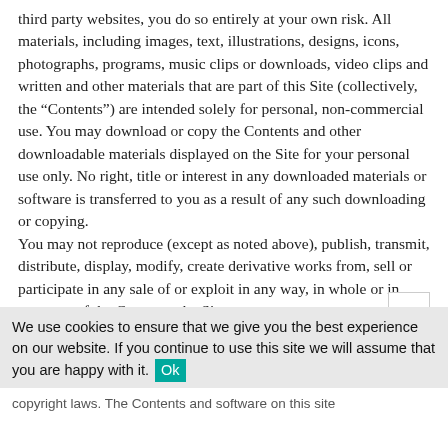third party websites, you do so entirely at your own risk. All materials, including images, text, illustrations, designs, icons, photographs, programs, music clips or downloads, video clips and written and other materials that are part of this Site (collectively, the “Contents”) are intended solely for personal, non-commercial use. You may download or copy the Contents and other downloadable materials displayed on the Site for your personal use only. No right, title or interest in any downloaded materials or software is transferred to you as a result of any such downloading or copying.
You may not reproduce (except as noted above), publish, transmit, distribute, display, modify, create derivative works from, sell or participate in any sale of or exploit in any way, in whole or in part, any of the Contents, the Site or any
We use cookies to ensure that we give you the best experience on our website. If you continue to use this site we will assume that you are happy with it. Ok
copyright laws. The Contents and software on this site